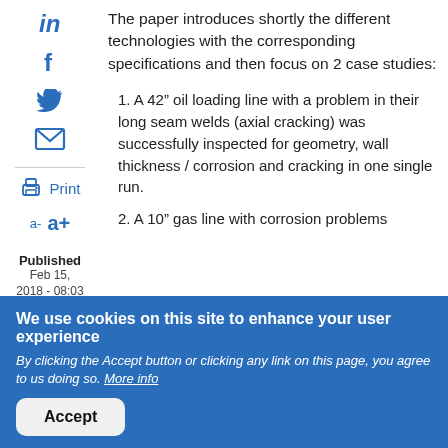The paper introduces shortly the different technologies with the corresponding specifications and then focus on 2 case studies:
1. A 42″ oil loading line with a problem in their long seam welds (axial cracking) was successfully inspected for geometry, wall thickness / corrosion and cracking in one single run.
2. A 10″ gas line with corrosion problems
Published
Feb 15, 2018 - 08:03
We use cookies on this site to enhance your user experience
By clicking the Accept button or clicking any link on this page, you agree to us doing so. More info